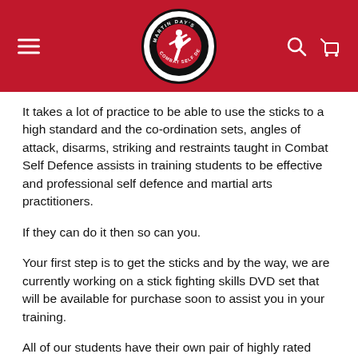Martin Day's Combat Self Defence — navigation header with logo
It takes a lot of practice to be able to use the sticks to a high standard and the co-ordination sets, angles of attack, disarms, striking and restraints taught in Combat Self Defence assists in training students to be effective and professional self defence and martial arts practitioners.
If they can do it then so can you.
Your first step is to get the sticks and by the way, we are currently working on a stick fighting skills DVD set that will be available for purchase soon to assist you in your training.
All of our students have their own pair of highly rated rattan sticks made in the Philippines and they bring them to every training class in the provided carry case.